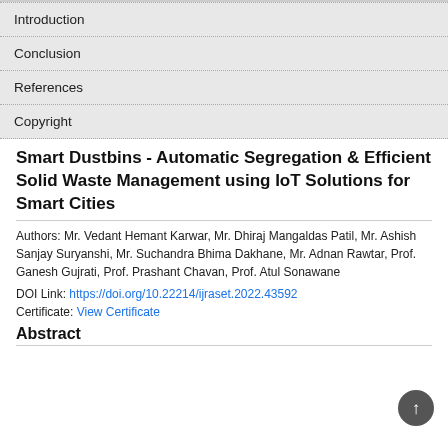| Introduction |
| Conclusion |
| References |
| Copyright |
Smart Dustbins - Automatic Segregation & Efficient Solid Waste Management using IoT Solutions for Smart Cities
Authors: Mr. Vedant Hemant Karwar, Mr. Dhiraj Mangaldas Patil, Mr. Ashish Sanjay Suryanshi, Mr. Suchandra Bhima Dakhane, Mr. Adnan Rawtar, Prof. Ganesh Gujrati, Prof. Prashant Chavan, Prof. Atul Sonawane
DOI Link: https://doi.org/10.22214/ijraset.2022.43592
Certificate: View Certificate
Abstract